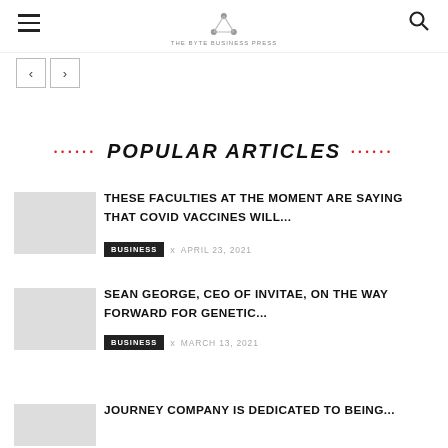The Byte Business Press logo with hamburger menu and search icon
< >
POPULAR ARTICLES
THESE FACULTIES AT THE MOMENT ARE SAYING THAT COVID VACCINES WILL...
BUSINESS  x  APRIL 23, 2021
SEAN GEORGE, CEO OF INVITAE, ON THE WAY FORWARD FOR GENETIC...
BUSINESS  x  MARCH 13, 2021
JOURNEY COMPANY IS DEDICATED TO BEING...